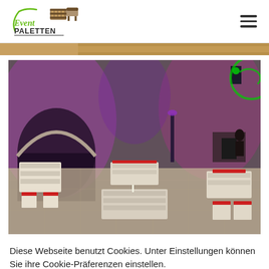[Figure (logo): Event Paletten logo with green cursive text and wooden pallet icon]
[Figure (photo): Partial view of a top banner photo, warm golden/brown tones]
[Figure (photo): Event hall with stone arched walls lit with purple/pink lights, pallet furniture with red cushions arranged for an event]
Diese Webseite benutzt Cookies. Unter Einstellungen können Sie ihre Cookie-Präferenzen einstellen.
Einstellungen
Akzeptieren